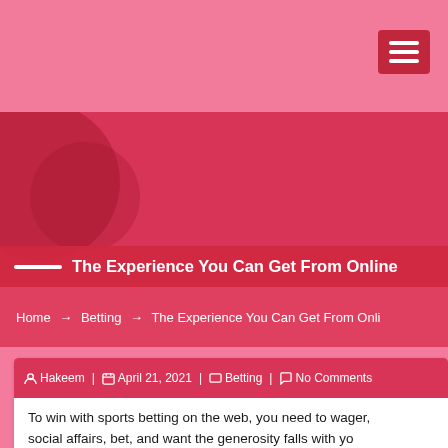Navigation bar with hamburger menu
The Experience You Can Get From Online
Home → Betting → The Experience You Can Get From Onli
Hakeem | April 21, 2021 | Betting | No Comments
To win with sports betting on the web, you need to wager, social affairs, bet, and want the generosity falls with yo...